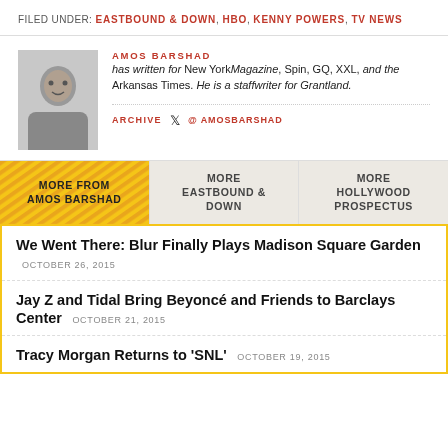FILED UNDER: EASTBOUND & DOWN, HBO, KENNY POWERS, TV NEWS
AMOS BARSHAD has written for New York Magazine, Spin, GQ, XXL, and the Arkansas Times. He is a staff writer for Grantland.
ARCHIVE  @ AMOSBARSHAD
MORE FROM AMOS BARSHAD | MORE EASTBOUND & DOWN | MORE HOLLYWOOD PROSPECTUS
We Went There: Blur Finally Plays Madison Square Garden  OCTOBER 26, 2015
Jay Z and Tidal Bring Beyoncé and Friends to Barclays Center  OCTOBER 21, 2015
Tracy Morgan Returns to 'SNL'  OCTOBER 19, 2015